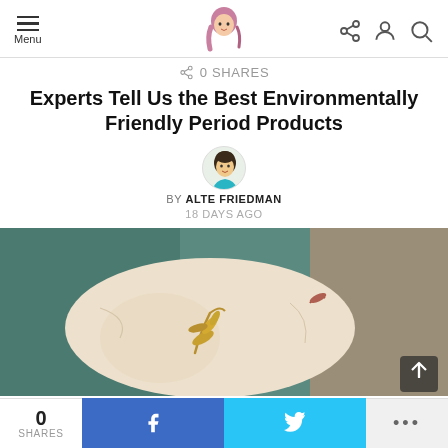Menu | [Logo] | [Share] [User] [Search]
0 SHARES
Experts Tell Us the Best Environmentally Friendly Period Products
BY ALTE FRIEDMAN
18 DAYS AGO
[Figure (photo): A cream-colored decorative pillow with embroidered yellow/gold leaf motif, resting on a teal/green blanket with other textiles in background]
0 SHARES | f (Facebook share) | (Twitter share) | ...